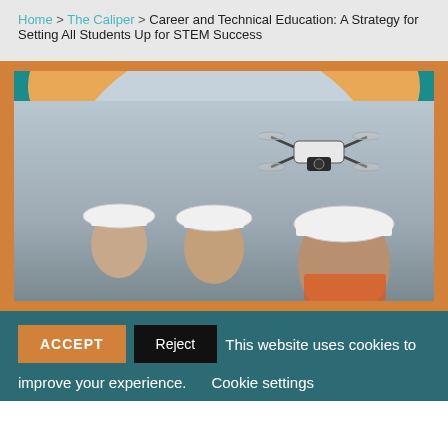Home > The Caliper > Career and Technical Education: A Strategy for Setting All Students Up for STEM Success
[Figure (photo): Decorative hero image with teal background, orange polka-dot circles, a large light gray arch, and a photo of three workers wearing white hard hats with a drone flying overhead. Orange and teal color scheme.]
ACCEPT  Reject  This website uses cookies to improve your experience.  Cookie settings